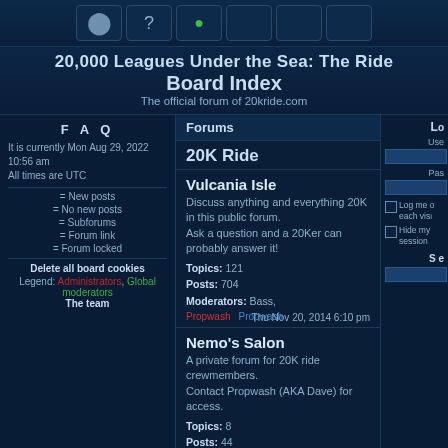20,000 Leagues Under the Sea: The Ride — Board Index — The official forum of 20kride.com
FAQ
It is currently Mon Aug 29, 2022 10:56 am
All times are UTC
= New posts
= No new posts
= Subforums
= Forum link
= Forum locked
Delete all board cookies
Legend: Administrators, Global moderators
The team
Forums
20K Ride
Vulcania Isle
Discuss anything and everything 20K in this public forum.
Ask a question and a 20Ker can probably answer it!
Topics: 121
Posts: 704
Moderators: Bass,
Thu Nov 20, 2014 6:10 pm
Nemo's Salon
A private forum for 20K ride crewmembers.
Contact Propwash (AKA Dave) for access.
Topics: 8
Posts: 44
Moderators: